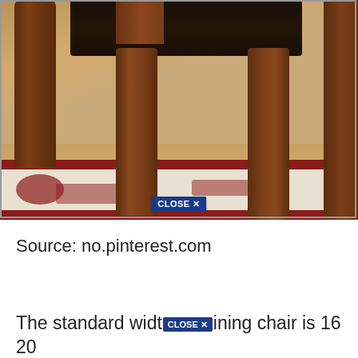[Figure (photo): Close-up photo of dark wooden dining chair legs on a cream and red patterned rug, with hardwood floor visible. Two chairs are shown; the seats have dark leather/vinyl upholstery. A 'CLOSE X' button overlay appears at the bottom center of the image.]
Source: no.pinterest.com
The standard width dining chair is 16 20